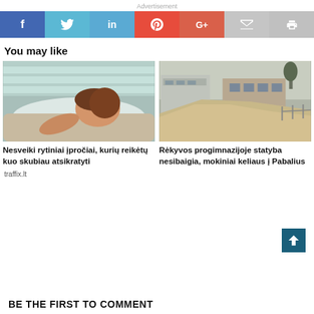Advertisement
[Figure (other): Social sharing buttons bar: Facebook (blue), Twitter (light blue), LinkedIn (blue), Pinterest (red), Google+ (coral), Email (gray), Print (gray)]
You may like
[Figure (photo): Photo of a woman sleeping on a pillow with striped cushions in the background]
[Figure (photo): Photo of a school building with a large mound of sand/dirt in the foreground, construction site]
Nesveiki rytiniai įpročiai, kurių reikėtų kuo skubiau atsikratyti
Rėkyvos progimnazijoje statyba nesibaigia, mokiniai keliaus į Pabalius
traffix.lt
BE THE FIRST TO COMMENT